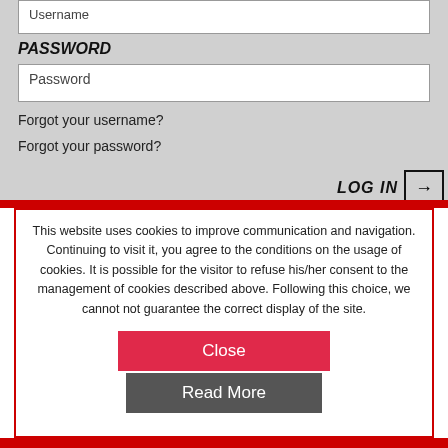Username
PASSWORD
Password
Forgot your username?
Forgot your password?
LOG IN →
This website uses cookies to improve communication and navigation. Continuing to visit it, you agree to the conditions on the usage of cookies. It is possible for the visitor to refuse his/her consent to the management of cookies described above. Following this choice, we cannot not guarantee the correct display of the site.
Close
Read More
HOMEPAGE   COMPANY   PRODUCTS   SERVICES
SALES NETWORK   CONTACTS   CLIENT AREA